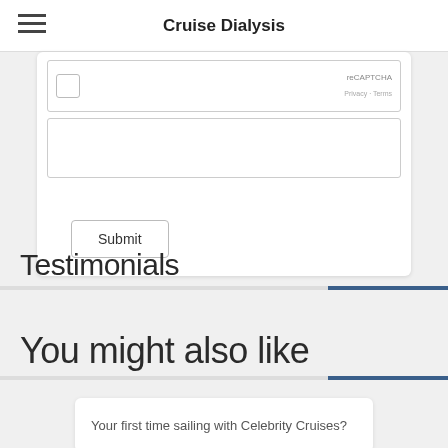Cruise Dialysis
[Figure (screenshot): Partial web form showing reCAPTCHA area with checkbox, reCAPTCHA label, Privacy and Terms links, a white form field area, and a Submit button]
Testimonials
You might also like
Your first time sailing with Celebrity Cruises?